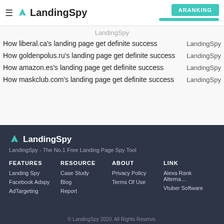LandingSpy — ARANKING
LandingSpy
How liberal.ca's landing page get definite success — LandingSpy
How goldenpolus.ru's landing page get definite success — LandingSpy
How amazon.es's landing page get definite success — LandingSpy
How maskclub.com's landing page get definite success — LandingSpy
[Figure (logo): LandingSpy logo with teal chevron icon and bold text]
LandingSpy - The No.1 Free Landing Page Spy Tool
FEATURES
RESOURCE
ABOUT
LINK
Landing Spy
Case Study
Privacy Policy
Alexa Rank Alterna…
Facebook Adspy
Blog
Terms Of Use
Vtuber Software
AdTargeting
Report
© LandingSpy 2020. All Rights Reserve.